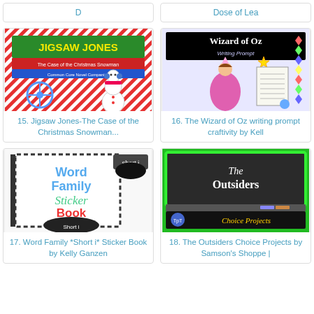D
Dose of Lea
[Figure (illustration): Jigsaw Jones Christmas Snowman book cover - colorful Christmas themed illustration with snowflake and snowman]
15. Jigsaw Jones-The Case of the Christmas Snowman...
[Figure (illustration): Wizard of Oz writing prompt craftivity - girl in pink dress with wand]
16. The Wizard of Oz writing prompt craftivity by Kell
[Figure (illustration): Word Family Short i Sticker Book cover - black and white with colorful text]
17. Word Family *Short i* Sticker Book by Kelly Ganzen
[Figure (illustration): The Outsiders Choice Projects - chalkboard style with The Outsiders text and Choice Projects banner]
18. The Outsiders Choice Projects by Samson's Shoppe |